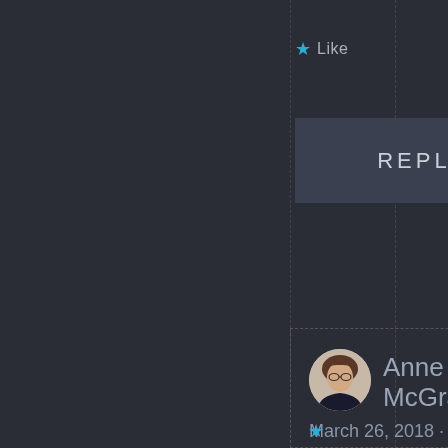★ Like
REPLY ↓
Anne McGrath
March 26, 2018 · 7:13 am
My comment wouldn't post and now I see it posted twice. Tried to remove one but am too lame.